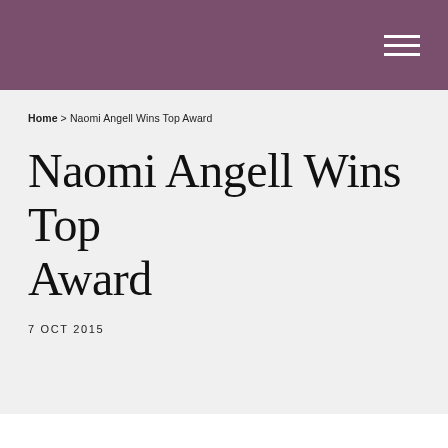Home > Naomi Angell Wins Top Award
Naomi Angell Wins Top Award
7 OCT 2015